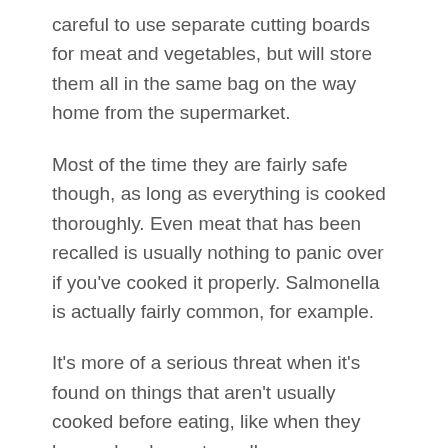careful to use separate cutting boards for meat and vegetables, but will store them all in the same bag on the way home from the supermarket.
Most of the time they are fairly safe though, as long as everything is cooked thoroughly. Even meat that has been recalled is usually nothing to panic over if you've cooked it properly. Salmonella is actually fairly common, for example.
It's more of a serious threat when it's found on things that aren't usually cooked before eating, like when they have a lunch meat recall.